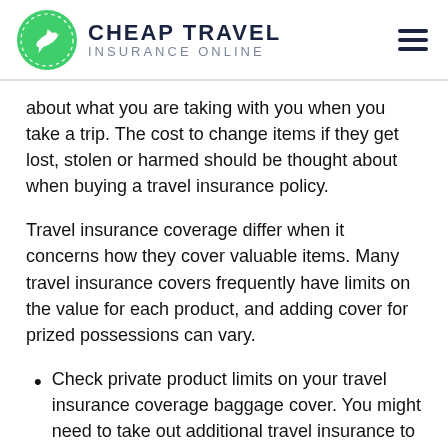CHEAP TRAVEL INSURANCE ONLINE
about what you are taking with you when you take a trip. The cost to change items if they get lost, stolen or harmed should be thought about when buying a travel insurance policy.
Travel insurance coverage differ when it concerns how they cover valuable items. Many travel insurance covers frequently have limits on the value for each product, and adding cover for prized possessions can vary.
Check private product limits on your travel insurance coverage baggage cover. You might need to take out additional travel insurance to cover your prized possessions properly.
Check the excess on your travel insurance cover